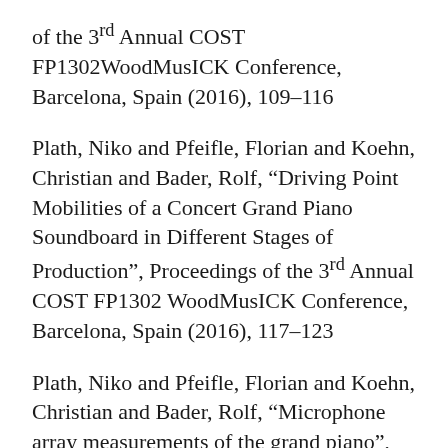of the 3rd Annual COST FP1302WoodMusICK Conference, Barcelona, Spain (2016), 109–116
Plath, Niko and Pfeifle, Florian and Koehn, Christian and Bader, Rolf, “Driving Point Mobilities of a Concert Grand Piano Soundboard in Different Stages of Production”, Proceedings of the 3rd Annual COST FP1302 WoodMusICK Conference, Barcelona, Spain (2016), 117–123
Plath, Niko and Pfeifle, Florian and Koehn, Christian and Bader, Rolf, "Microphone array measurements of the grand piano",